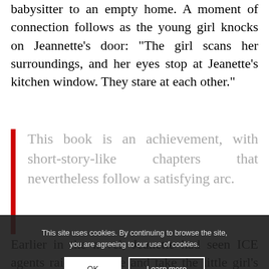babysitter to an empty home. A moment of connection follows as the young girl knocks on Jeannette's door: "The girl scans her surroundings, and her eyes stop at Jeanette's kitchen window. They stare at each other."
This book is an achievement, with short-story-like chapters that nevertheless follow a satisfying arc.
Earlier in the novel, Jeanette had seen ICE agents raid the home and take the little girl's mother away. Still, Jeanette's decision to open her door is not easy. After
This site uses cookies. By continuing to browse the site, you are agreeing to our use of cookies.